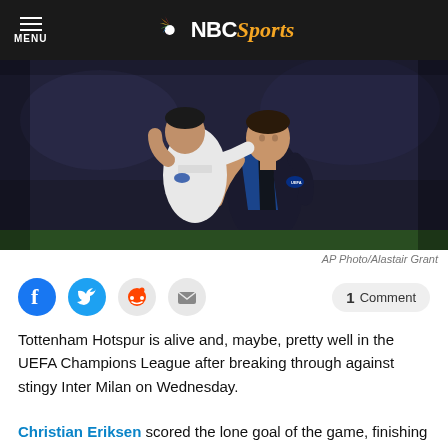MENU | NBC Sports
[Figure (photo): Two soccer players in an aerial duel — one in a white Tottenham kit (KANE visible), another in Inter Milan's black and blue kit — competing for a header during a UEFA Champions League match. Stadium lights visible in background.]
AP Photo/Alastair Grant
Tottenham Hotspur is alive and, maybe, pretty well in the UEFA Champions League after breaking through against stingy Inter Milan on Wednesday.
Christian Eriksen scored the lone goal of the game, finishing off a team goal inspired by Moussa Sissoko's